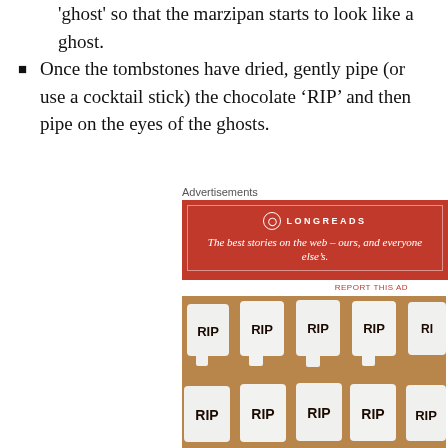of the marshmallow and gently pinch the top of the 'ghost' so that the marzipan starts to look like a ghost.
Once the tombstones have dried, gently pipe (or use a cocktail stick) the chocolate 'RIP' and then pipe on the eyes of the ghosts.
Advertisements
[Figure (other): Longreads advertisement banner in red: 'The best stories on the web – ours, and everyone else's.']
REPORT THIS AD
[Figure (photo): Photo of white-chocolate-dipped marshmallow tombstones with 'RIP' written in chocolate on parchment paper, two rows visible.]